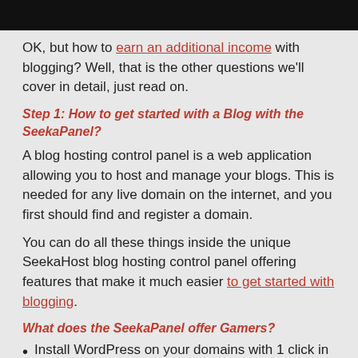[Figure (other): Black banner/header bar at the top of the page]
OK, but how to earn an additional income with blogging? Well, that is the other questions we'll cover in detail, just read on.
Step 1: How to get started with a Blog with the SeekaPanel?
A blog hosting control panel is a web application allowing you to host and manage your blogs. This is needed for any live domain on the internet, and you first should find and register a domain.
You can do all these things inside the unique SeekaHost blog hosting control panel offering features that make it much easier to get started with blogging.
What does the SeekaPanel offer Gamers?
Install WordPress on your domains with 1 click in less than 60